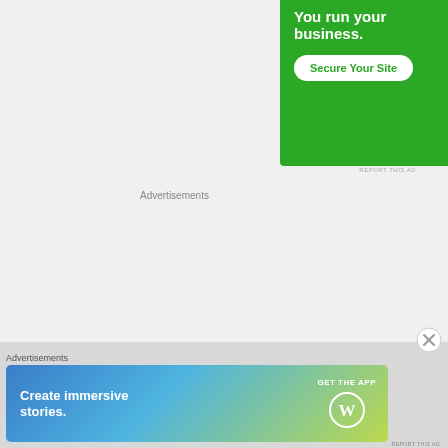[Figure (screenshot): Green advertisement banner (partially visible top) with text 'You run your business.' and a white rounded button 'Secure Your Site']
REPORT THIS AD
Advertisements
[Figure (logo): WordPress advertisement block with beige/cream background showing WordPress logo (circle with W)]
Advertisements
[Figure (screenshot): WordPress banner ad with blue-to-yellow gradient, text 'Create immersive stories.' on left, 'GET THE APP' with WordPress logo on right]
REPORT THIS AD